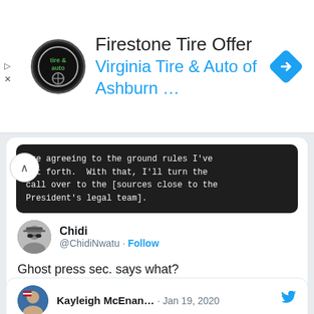[Figure (screenshot): Advertisement banner for Firestone Tire Offer / Virginia Tire & Auto of Ashburn with logo and blue navigation arrow icon]
[Figure (screenshot): Dark code block quote: 'are agreeing to the ground rules I've set forth. With that, I'll turn the call over to the [sources close to the President's legal team].']
Chidi @ChidiNwatu · Follow
Ghost press sec. says what?
1:45 AM · Jan 19, 2020
245  Reply  Copy link
Read 2 replies
Kayleigh McEnan... · Jan 19, 2020